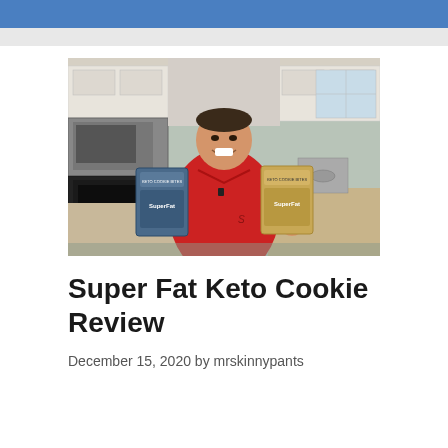[Figure (photo): A smiling man in a red polo shirt standing in a kitchen, holding two packages of SuperFat Keto Cookie Bites products, one in each hand. White kitchen cabinets and a stainless steel microwave are visible in the background.]
Super Fat Keto Cookie Review
December 15, 2020 by mrskinnypants